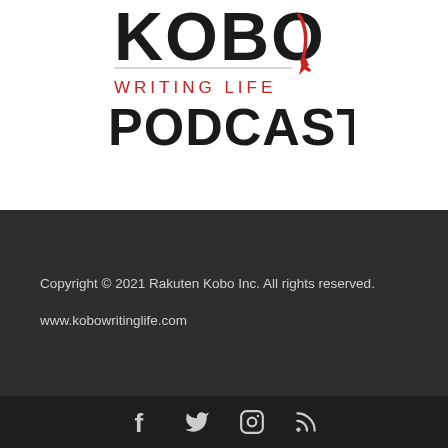[Figure (logo): Kobo Writing Life Podcast logo with stylized 'KOBO' text, a red pen/quill mark, 'WRITING LIFE' subtitle in red, and 'PODCAST' in bold black text]
Copyright © 2021 Rakuten Kobo Inc. All rights reserved.
www.kobowritinglife.com
[Figure (infographic): Social media icons row: Facebook (f), Twitter (bird), Instagram (camera), RSS feed icons in grey on dark background]